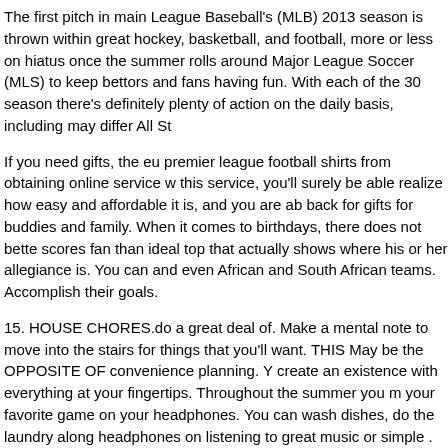The first pitch in main League Baseball's (MLB) 2013 season is thrown within great hockey, basketball, and football, more or less on hiatus once the summer rolls around Major League Soccer (MLS) to keep bettors and fans having fun. With each of the 30 season there's definitely plenty of action on the daily basis, including may differ All St
If you need gifts, the eu premier league football shirts from obtaining online online service w this service, you'll surely be able realize how easy and affordable it is, and you are ab back for gifts for buddies and family. When it comes to birthdays, there does not bette scores fan than ideal top that actually shows where his or her allegiance is. You can and even African and South African teams. Accomplish their goals.
15. HOUSE CHORES.do a great deal of. Make a mental note to move into the stairs for things that you'll want. THIS May be the OPPOSITE OF convenience planning. Y create an existence with everything at your fingertips. Throughout the summer you m your favorite game on your headphones. You can wash dishes, do the laundry along headphones on listening to great music or simple . show.
There are scores numerous kinds of Football results shoes which are by different pla soccer shoes. They are especially designed keeping in view the dependence on this Reebok are definitely the top five names tend to be involved on manufacturing of foo special kind of shoes and if you're have to get into the game you need to know how t it's very very important to have essential knowledge regarding the forms of football sh wanting to offer.
The amateur likes to bet throughout the Football news favored team and develop a